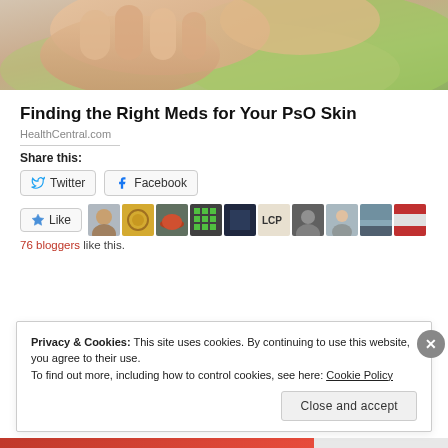[Figure (photo): Close-up photo of hands with skin condition, greenish/skin-tone background]
Finding the Right Meds for Your PsO Skin
HealthCentral.com
Share this:
[Figure (screenshot): Twitter and Facebook share buttons]
[Figure (screenshot): Like button with star and 10 blogger avatars. 76 bloggers like this.]
76 bloggers like this.
Privacy & Cookies: This site uses cookies. By continuing to use this website, you agree to their use.
To find out more, including how to control cookies, see here: Cookie Policy
Close and accept